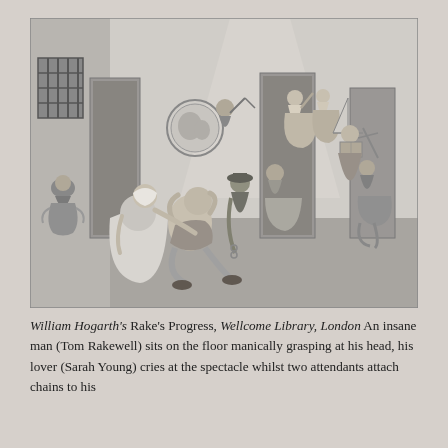[Figure (illustration): William Hogarth's engraving 'Rake's Progress' scene set inside Bethlem Royal Hospital (Bedlam). A semi-naked man (Tom Rakewell) sits on the floor manically grasping his head while a woman (Sarah Young) kneels weeping beside him. Two attendants are nearby. Various other inmates are visible in the background including a religious maniac with a paper bishop's hat and another climbing the wall. The scene is rendered in fine black-and-white engraving style.]
William Hogarth's Rake's Progress, Wellcome Library, London An insane man (Tom Rakewell) sits on the floor manically grasping at his head, his lover (Sarah Young) cries at the spectacle whilst two attendants attach chains to his